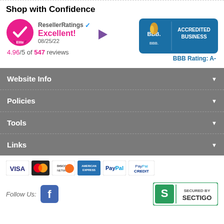Shop with Confidence
[Figure (logo): ResellerRatings Elite badge with checkmark, Excellent! rating 4.96/5 of 547 reviews dated 08/25/22]
[Figure (logo): BBB Accredited Business badge with BBB Rating: A-]
Website Info
Policies
Tools
Links
[Figure (logo): Payment method icons: VISA, MasterCard, Discover, American Express, PayPal, PayPal Credit]
[Figure (logo): Follow Us Facebook icon and Secured by Sectigo badge]